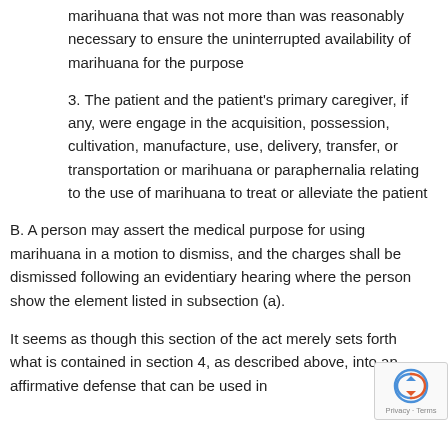marihuana that was not more than was reasonably necessary to ensure the uninterrupted availability of marihuana for the purpose
3. The patient and the patient's primary caregiver, if any, were engage in the acquisition, possession, cultivation, manufacture, use, delivery, transfer, or transportation or marihuana or paraphernalia relating to the use of marihuana to treat or alleviate the patient
B. A person may assert the medical purpose for using marihuana in a motion to dismiss, and the charges shall be dismissed following an evidentiary hearing where the person show the element listed in subsection (a).
It seems as though this section of the act merely sets forth what is contained in section 4, as described above, into an affirmative defense that can be used in